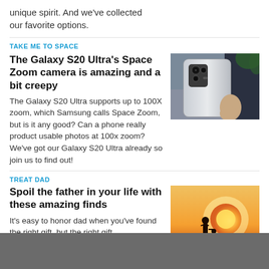unique spirit. And we've collected our favorite options.
TAKE ME TO SPACE
The Galaxy S20 Ultra's Space Zoom camera is amazing and a bit creepy
[Figure (photo): Back of a Samsung Galaxy S20 Ultra smartphone being held in hand, showing camera module]
The Galaxy S20 Ultra supports up to 100X zoom, which Samsung calls Space Zoom, but is it any good? Can a phone really product usable photos at 100x zoom? We've got our Galaxy S20 Ultra already so join us to find out!
TREAT DAD
Spoil the father in your life with these amazing finds
[Figure (photo): Silhouette of a father and child on a beach at sunset with bright orange sun behind them]
It's easy to honor dad when you've found the right gift, but the right gift